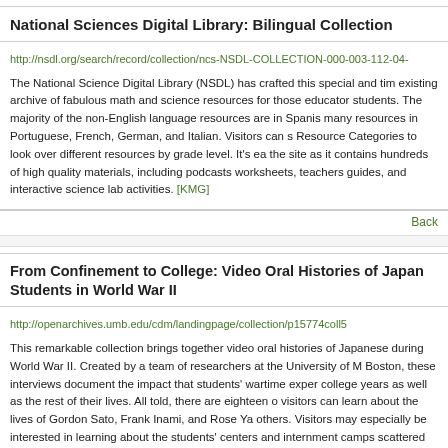National Sciences Digital Library: Bilingual Collection
http://nsdl.org/search/record/collection/ncs-NSDL-COLLECTION-000-003-112-04-
The National Science Digital Library (NSDL) has crafted this special and timely collection from its existing archive of fabulous math and science resources for those educators and students. The majority of the non-English language resources are in Spanish, but there are also many resources in Portuguese, French, German, and Italian. Visitors can search within the Resource Categories to look over different resources by grade level. It's easy to get lost within the site as it contains hundreds of high quality materials, including podcasts, lesson plans, worksheets, teachers guides, and interactive science lab activities. [KMG]
Back
From Confinement to College: Video Oral Histories of Japanese American Students in World War II
http://openarchives.umb.edu/cdm/landingpage/collection/p15774coll5
This remarkable collection brings together video oral histories of Japanese American students during World War II. Created by a team of researchers at the University of Massachusetts Boston, these interviews document the impact that students' wartime experiences had on their college years as well as the rest of their lives. All told, there are eighteen oral histories where visitors can learn about the lives of Gordon Sato, Frank Inami, and Rose Ya others. Visitors may especially be interested in learning about the students' centers and internment camps scattered around the United States. All told, thoughtful collection that will be enjoyed by anyone with an interest in Am